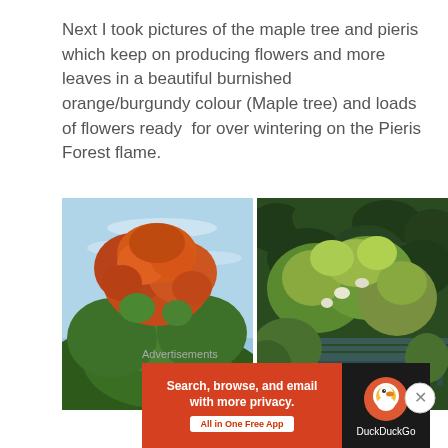Next I took pictures of the maple tree and pieris which keep on producing flowers and more leaves in a beautiful burnished orange/burgundy colour (Maple tree) and loads of flowers ready for over wintering on the Pieris Forest flame.
[Figure (photo): Maple tree with orange-red and green autumn leaves against a blue sky]
[Figure (photo): Pieris Forest Flame shrub with green and yellow foliage, flower buds, and a garden bench visible]
Advertisements
[Figure (screenshot): DuckDuckGo advertisement banner: 'Search, browse, and email with more privacy. All in One Free App' on orange background with DuckDuckGo logo on dark background]